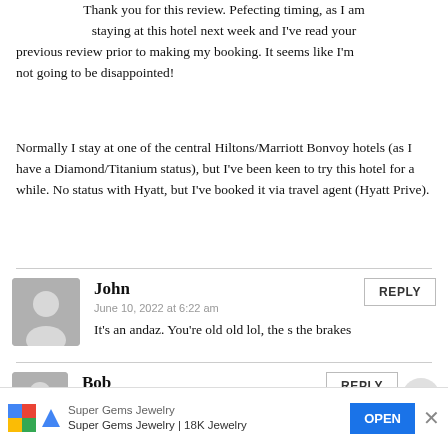Thank you for this review. Pefecting timing, as I am staying at this hotel next week and I've read your previous review prior to making my booking. It seems like I'm not going to be disappointed!
Normally I stay at one of the central Hiltons/Marriott Bonvoy hotels (as I have a Diamond/Titanium status), but I've been keen to try this hotel for a while. No status with Hyatt, but I've booked it via travel agent (Hyatt Prive).
John
June 10, 2022 at 6:22 am
It's an andaz. You're old old lol, the s the brakes
Bob
June 10, 2022 at 10:05 am
"Klimt Cuvée"
Super Gems Jewelry
Super Gems Jewelry | 18K Jewelry